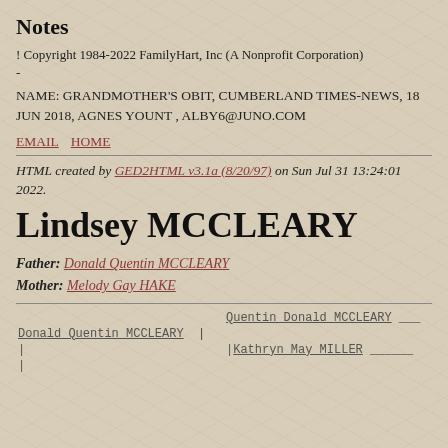Notes
! Copyright 1984-2022 FamilyHart, Inc (A Nonprofit Corporation)
-
NAME: GRANDMOTHER'S OBIT, CUMBERLAND TIMES-NEWS, 18 JUN 2018, AGNES YOUNT , ALBY6@JUNO.COM
EMAIL  HOME
HTML created by GED2HTML v3.1a (8/20/97) on Sun Jul 31 13:24:01 2022.
Lindsey MCCLEARY
Father: Donald Quentin MCCLEARY
Mother: Melody Gay HAKE
|  | Quentin Donald MCCLEARY |
| Donald Quentin MCCLEARY  | |  |
| | | Kathryn May MILLER |